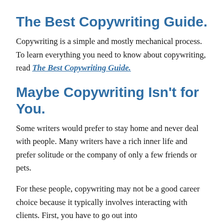The Best Copywriting Guide.
Copywriting is a simple and mostly mechanical process. To learn everything you need to know about copywriting, read The Best Copywriting Guide.
Maybe Copywriting Isn’t for You.
Some writers would prefer to stay home and never deal with people. Many writers have a rich inner life and prefer solitude or the company of only a few friends or pets.
For these people, copywriting may not be a good career choice because it typically involves interacting with clients. First, you have to go out into